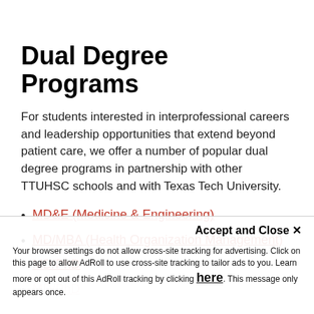Dual Degree Programs
For students interested in interprofessional careers and leadership opportunities that extend beyond patient care, we offer a number of popular dual degree programs in partnership with other TTUHSC schools and with Texas Tech University.
MD&E (Medicine & Engineering)
MD/MBA (Health Organization Management)
MD/PhD
Accept and Close ✕
Your browser settings do not allow cross-site tracking for advertising. Click on this page to allow AdRoll to use cross-site tracking to tailor ads to you. Learn more or opt out of this AdRoll tracking by clicking here. This message only appears once.